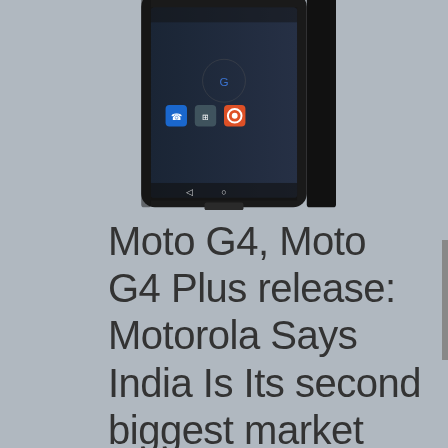[Figure (photo): Partial view of a Motorola Moto G4 smartphone showing the front screen with Android home screen icons (Google, phone, apps, Chrome) on a dark background, cropped at top]
Moto G4, Moto G4 Plus release: Motorola Says India Is Its second biggest market
May 30, 2016   sristy   APP
HIGHLIGHTS In phrases of volumes, Brazil remains the biggest market for Motorola. Lenovo said that it changed into 2d largest on-line smartphone emblem. The Moto G4 Plus packs fingerprint scanner. Lenovo-owned Motorola on Tuesday released [...]